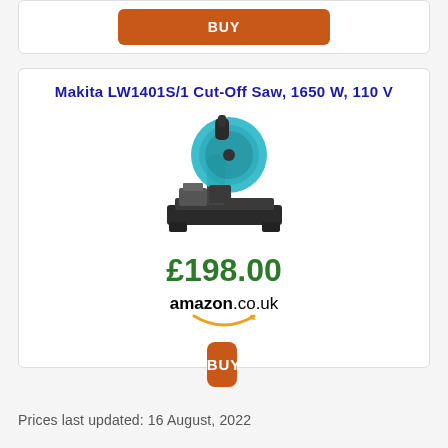[Figure (other): Orange BUY button at top of page (partial card visible)]
Makita LW1401S/1 Cut-Off Saw, 1650 W, 110 V
[Figure (photo): Photo of Makita LW1401S/1 Cut-Off Saw, teal/blue blade guard, black base]
£198.00
amazon.co.uk
[Figure (other): Orange BUY button]
Prices last updated: 16 August, 2022